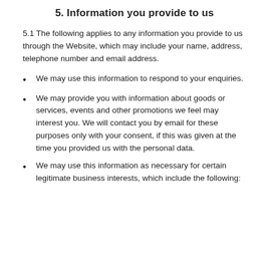5. Information you provide to us
5.1 The following applies to any information you provide to us through the Website, which may include your name, address, telephone number and email address.
We may use this information to respond to your enquiries.
We may provide you with information about goods or services, events and other promotions we feel may interest you. We will contact you by email for these purposes only with your consent, if this was given at the time you provided us with the personal data.
We may use this information as necessary for certain legitimate business interests, which include the following: